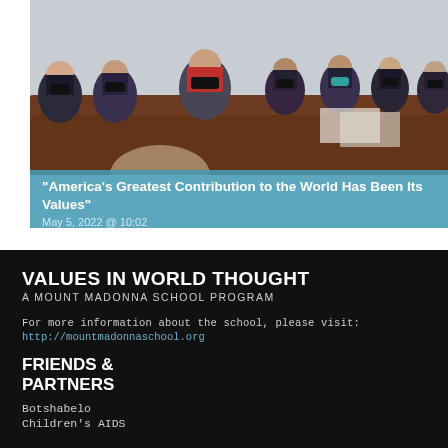[Figure (photo): Group of people in masks sitting around a conference table, appearing to be in a meeting]
“America’s Greatest Contribution to the World Has Been Its Values”
May 5, 2022 @ 10:02
VALUES IN WORLD THOUGHT
A MOUNT MADONNA SCHOOL PROGRAM
For more information about the school, please visit:
http://mountmadonnaschool.org
FRIENDS & PARTNERS
Botshabelo
Children’s AIDS